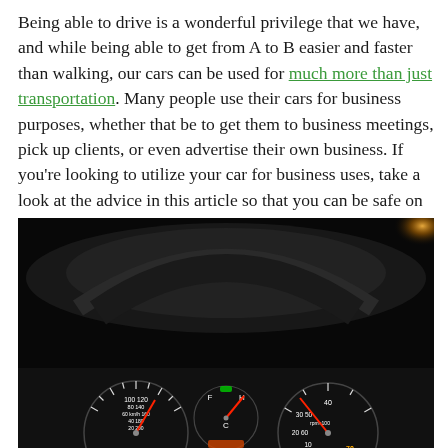Being able to drive is a wonderful privilege that we have, and while being able to get from A to B easier and faster than walking, our cars can be used for much more than just transportation. Many people use their cars for business purposes, whether that be to get them to business meetings, pick up clients, or even advertise their own business. If you're looking to utilize your car for business uses, take a look at the advice in this article so that you can be safe on the roads, while driving in comfort at the same time.
[Figure (photo): A dark car interior at night showing illuminated instrument cluster/dashboard gauges including speedometer and RPM gauge with red needle indicators, with blurred background including orange/yellow light.]